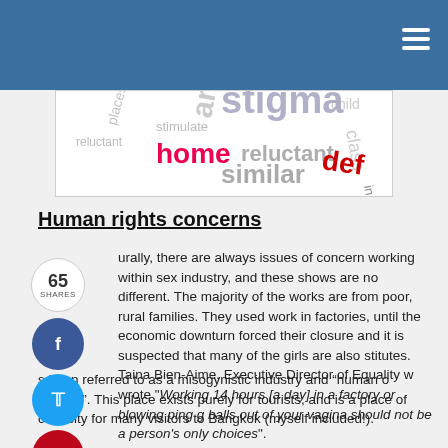[Figure (infographic): Blue header bar with word cloud image below it containing words like 'stigma', 'home', 'reluctant', 'similar', 'article', 'places', 'definition', etc. in various colors and sizes.]
Human rights concerns
urally, there are always issues of concern working within sex industry, and these shows are no different. The majority of the works are from poor, rural families. They used work in factories, until the economic downturn forced their closure and it is suspected that many of the girls are also stitutes. Taina Bien-Aime, Executive Director of Equality w wrote "Working 14 hours [a day] in a factory or blowing ping g balls out of your vagina should not be a person's only choices ".
s been referred to as a misogynistic industry and “human o tourism”. This place exists purely for tourists, and is a place of curiosity for many visitors to Bangkok (myself included!).